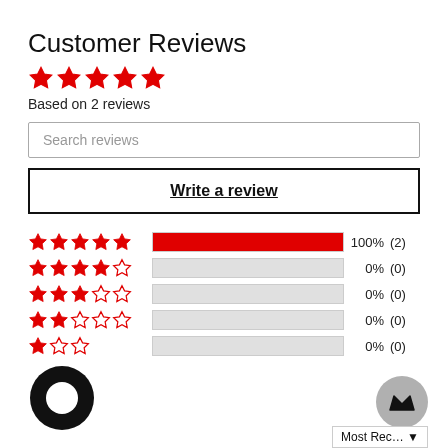Customer Reviews
[Figure (other): 5 red filled stars rating display]
Based on 2 reviews
Search reviews
Write a review
[Figure (bar-chart): Star rating breakdown: 5-star 100% (2), 4-star 0% (0), 3-star 0% (0), 2-star 0% (0), 1-star 0% (0)]
Most Recent